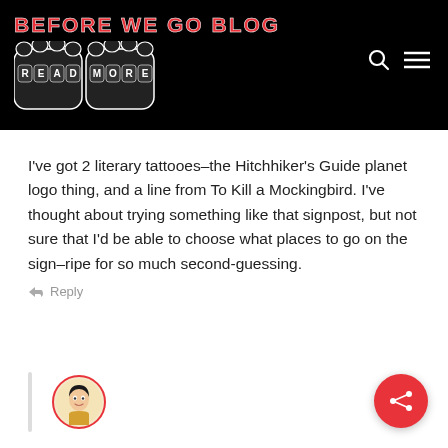BEFORE WE GO BLOG
I've got 2 literary tattooes–the Hitchhiker's Guide planet logo thing, and a line from To Kill a Mockingbird. I've thought about trying something like that signpost, but not sure that I'd be able to choose what places to go on the sign–ripe for so much second-guessing.
Reply
[Figure (illustration): Circular avatar with illustrated woman portrait, red border]